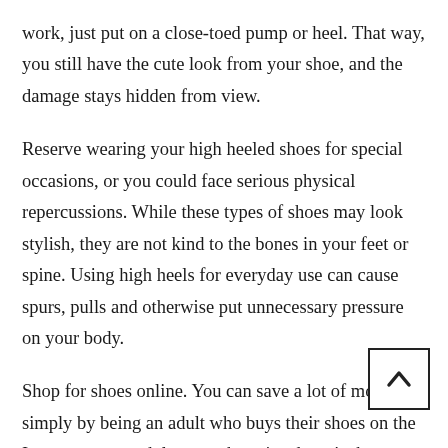work, just put on a close-toed pump or heel. That way, you still have the cute look from your shoe, and the damage stays hidden from view.
Reserve wearing your high heeled shoes for special occasions, or you could face serious physical repercussions. While these types of shoes may look stylish, they are not kind to the bones in your feet or spine. Using high heels for everyday use can cause spurs, pulls and otherwise put unnecessary pressure on your body.
Shop for shoes online. You can save a lot of money simply by being an adult who buys their shoes on the Internet. As an adult, your shoe size doesn't change and there is a